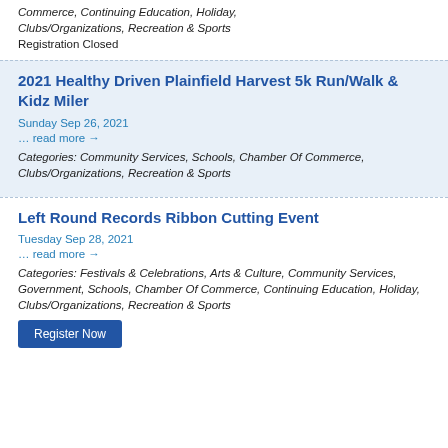Commerce, Continuing Education, Holiday, Clubs/Organizations, Recreation & Sports
Registration Closed
2021 Healthy Driven Plainfield Harvest 5k Run/Walk & Kidz Miler
Sunday Sep 26, 2021
… read more →
Categories: Community Services, Schools, Chamber Of Commerce, Clubs/Organizations, Recreation & Sports
Left Round Records Ribbon Cutting Event
Tuesday Sep 28, 2021
… read more →
Categories: Festivals & Celebrations, Arts & Culture, Community Services, Government, Schools, Chamber Of Commerce, Continuing Education, Holiday, Clubs/Organizations, Recreation & Sports
Register Now